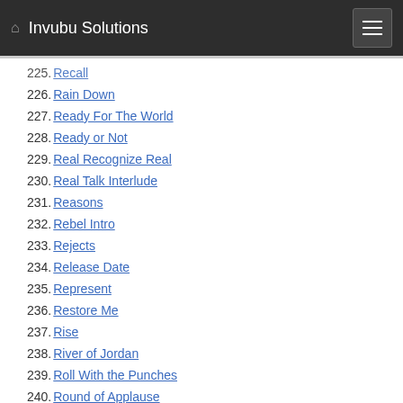Invubu Solutions
226. Rain Down
227. Ready For The World
228. Ready or Not
229. Real Recognize Real
230. Real Talk Interlude
231. Reasons
232. Rebel Intro
233. Rejects
234. Release Date
235. Represent
236. Restore Me
237. Rise
238. River of Jordan
239. Roll With the Punches
240. Round of Applause
241. Run
242. Runners
243. Sacrifice